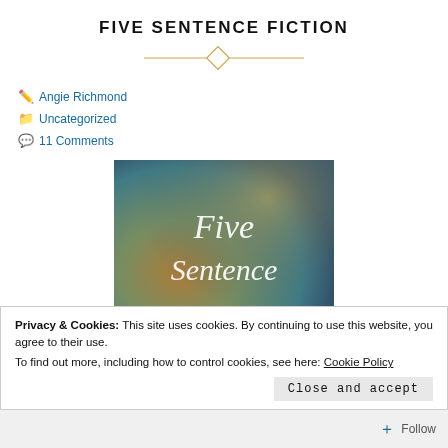FIVE SENTENCE FICTION
Angie Richmond
Uncategorized
11 Comments
[Figure (photo): Five Sentence Fiction logo/image with text 'Five Sentence Fiction' on a blurred colorful background]
McFerrin's Five Sentence Fiction. This week's inspiration word is: Mistletoe
Privacy & Cookies: This site uses cookies. By continuing to use this website, you agree to their use. To find out more, including how to control cookies, see here: Cookie Policy
Close and accept